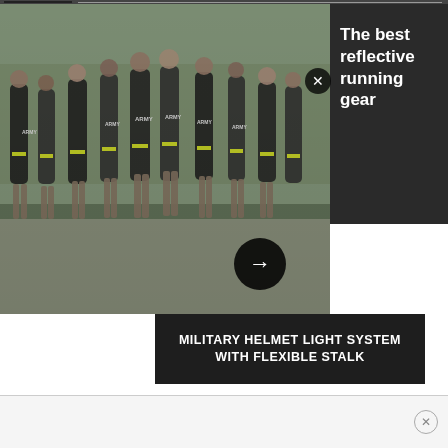[Figure (photo): Photo of U.S. Army soldiers in uniform running together in a group, wearing black shorts and gray ARMY shirts with yellow stripes]
The best reflective running gear
MILITARY HELMET LIGHT SYSTEM WITH FLEXIBLE STALK
"The legend would have you believe there was no stripe on the trousers until after the Mexican War, but that clearly isn't true," Conner said. "The stripes definitely vary over the years and take on different